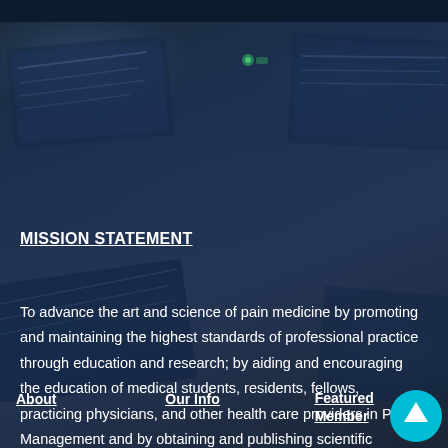[Figure (photo): Blurred background photo of laptops/computers on a desk with dark blue overlay, suggesting a medical or professional office environment.]
MISSION STATEMENT
To advance the art and science of pain medicine by promoting and maintaining the highest standards of professional practice through education and research; by aiding and encouraging the education of medical students, residents, fellows, practicing physicians, and other health care providers in Pain Management and by obtaining and publishing scientific information in Pain Medicine and management.
About   Our Info   Featured Member